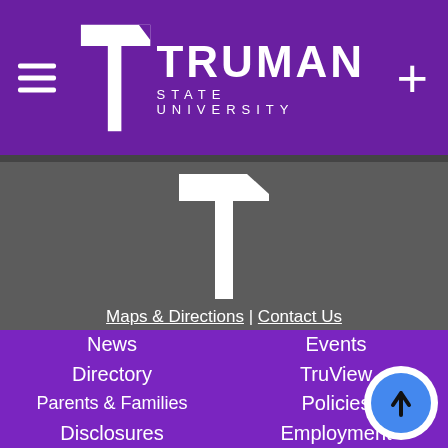[Figure (logo): Truman State University header with purple background, T logo, university name, hamburger menu and plus icon]
[Figure (logo): Truman State University T logo in white on gray background (footer logo)]
Maps & Directions | Contact Us
Copyright 2022 Truman State University
100 E. Normal Avenue • Kirksville, MO 63501
[Figure (infographic): Social media icons row: Facebook, Twitter, YouTube, Instagram, LinkedIn, Snapchat — white circles on gray background]
News
Events
Directory
TruView
Parents & Families
Policies
Disclosures
Employment